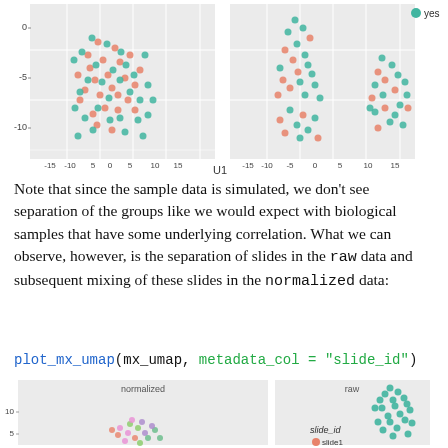[Figure (continuous-plot): Two UMAP scatter plots side by side (normalized and raw panels) with teal and salmon/orange dots colored by yes/no group, axes labeled U1, y-axis ticks at 0, -5, -10, x-axis ticks at -15 to 15. Legend on right with teal dot labeled 'yes'.]
Note that since the sample data is simulated, we don't see separation of the groups like we would expect with biological samples that have some underlying correlation. What we can observe, however, is the separation of slides in the raw data and subsequent mixing of these slides in the normalized data:
plot_mx_umap(mx_umap, metadata_col = "slide_id")
[Figure (continuous-plot): Two UMAP scatter plots side by side labeled 'normalized' and 'raw'. Normalized panel shows mixed multi-color (pink, green, purple, orange) dot cluster around y=5-8. Raw panel shows a single teal cluster in upper right around (8,12). Legend shows 'slide_id' with 'slide1' marked. Axes have y-axis tick at 10 and 5.]